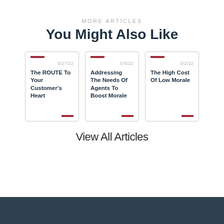MORE ARTICLES
You Might Also Like
[Figure (illustration): Three article cards side by side. Card 1: date 5/27/22, title 'The ROUTE To Your Customer's Heart'. Card 2: date 5/5/22, title 'Addressing The Needs Of Agents To Boost Morale'. Card 3: date 5/2/22, title 'The High Cost Of Low Morale'. Each card has red accent bars top-left and bottom-right.]
View All Articles